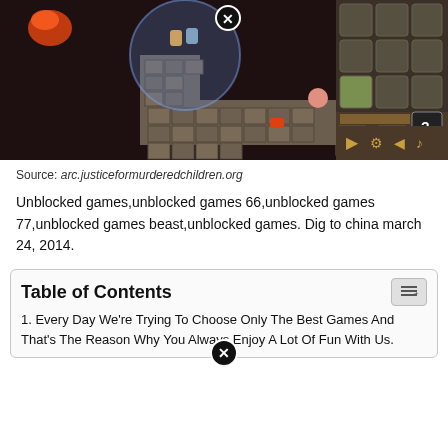[Figure (screenshot): Screenshot of a top-down game showing stone path tiles, a circular blue area with characters, and a game UI panel on the right with icons and controls.]
Source: arc.justiceformurderedchildren.org
Unblocked games,unblocked games 66,unblocked games 77,unblocked games beast,unblocked games. Dig to china march 24, 2014.
Table of Contents
1. Every Day We're Trying To Choose Only The Best Games And That's The Reason Why You Always Enjoy A Lot Of Fun With Us.